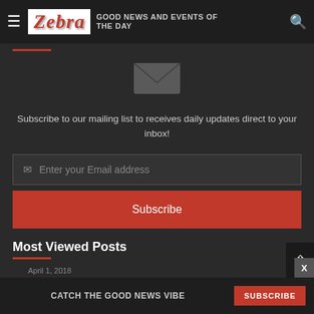Zebra | GOOD NEWS AND EVENTS OF THE DAY
Subscribe to our mailing list to receives daily updates direct to your inbox!
Enter your Email address
Subscribe
Most Viewed Posts
April 1, 2018
CATCH THE GOOD NEWS VIBE  SUBSCRIBE